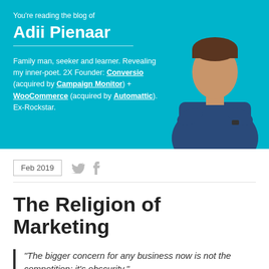You're reading the blog of
Adii Pienaar
Family man, seeker and learner. Revealing my inner-poet. 2X Founder: Conversio (acquired by Campaign Monitor) + WooCommerce (acquired by Automattic). Ex-Rockstar.
Feb 2019
The Religion of Marketing
“The bigger concern for any business now is not the competition; it’s obscurity.”